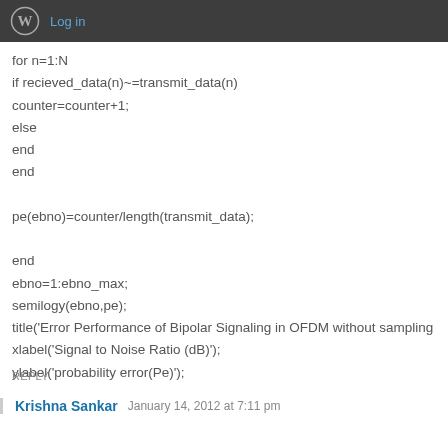Log in
for n=1:N
if recieved_data(n)~=transmit_data(n)
counter=counter+1;
else
end
end

pe(ebno)=counter/length(transmit_data);

end
ebno=1:ebno_max;
semilogy(ebno,pe);
title('Error Performance of Bipolar Signaling in OFDM without sampling
xlabel('Signal to Noise Ratio (dB)');
ylabel('probability error(Pe)');
REPLY
Krishna Sankar   January 14, 2012 at 7:11 pm